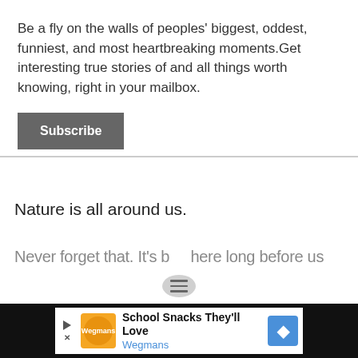Be a fly on the walls of peoples' biggest, oddest, funniest, and most heartbreaking moments.Get interesting true stories of and all things worth knowing, right in your mailbox.
Subscribe
Nature is all around us.
Never forget that. It's b… here long before us
[Figure (infographic): Advertisement banner: School Snacks They'll Love - Wegmans, with orange logo image and blue arrow navigation icon, on black background bar]
School Snacks They'll Love Wegmans